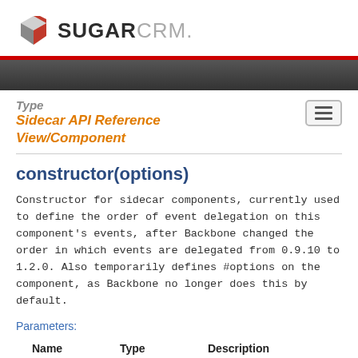SUGARCRM
Type
Sidecar API Reference
View/Component
constructor(options)
Constructor for sidecar components, currently used to define the order of event delegation on this component's events, after Backbone changed the order in which events are delegated from 0.9.10 to 1.2.0. Also temporarily defines #options on the component, as Backbone no longer does this by default.
Parameters:
| Name | Type | Description |
| --- | --- | --- |